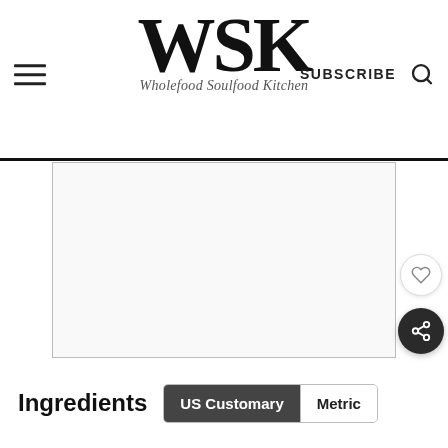WSK - Wholefood Soulfood Kitchen | SUBSCRIBE
[Figure (photo): Large blank/white image placeholder area with border on the main content area of the page, likely a recipe photo]
Ingredients
US Customary | Metric